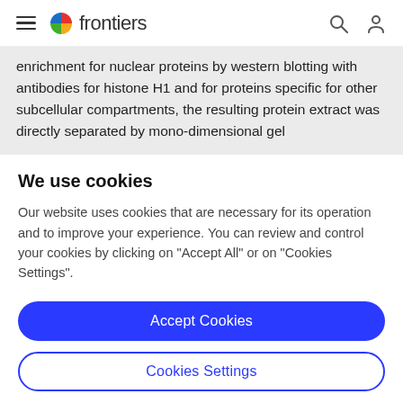frontiers
enrichment for nuclear proteins by western blotting with antibodies for histone H1 and for proteins specific for other subcellular compartments, the resulting protein extract was directly separated by mono-dimensional gel
We use cookies
Our website uses cookies that are necessary for its operation and to improve your experience. You can review and control your cookies by clicking on "Accept All" or on "Cookies Settings".
Accept Cookies
Cookies Settings